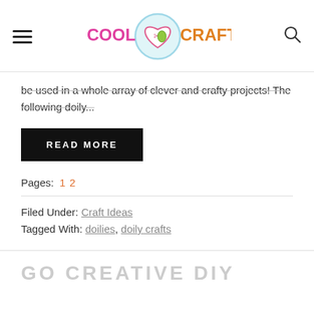Cool Crafts
be used in a whole array of clever and crafty projects! The following doily...
READ MORE
Pages: 1 2
Filed Under: Craft Ideas
Tagged With: doilies, doily crafts
GO CREATIVE DIY